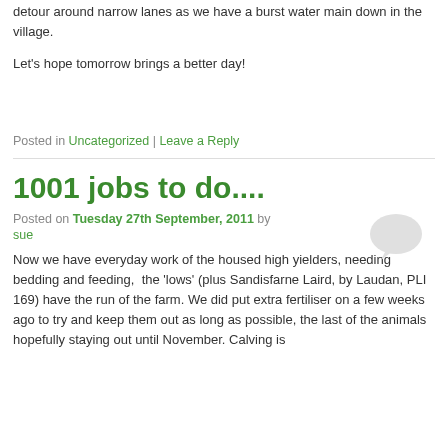detour around narrow lanes as we have a burst water main down in the village.
Let's hope tomorrow brings a better day!
Posted in Uncategorized | Leave a Reply
1001 jobs to do....
Posted on Tuesday 27th September, 2011 by sue
Now we have everyday work of the housed high yielders, needing bedding and feeding,  the 'lows' (plus Sandisfarne Laird, by Laudan, PLI 169) have the run of the farm. We did put extra fertiliser on a few weeks ago to try and keep them out as long as possible, the last of the animals hopefully staying out until November. Calving is